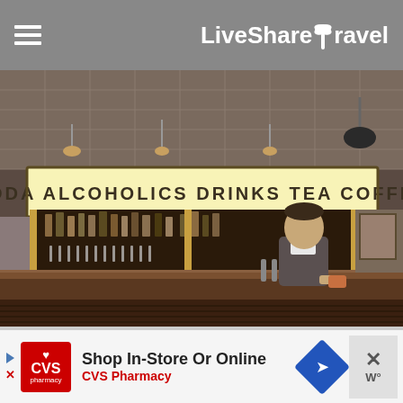LiveShareTravel
[Figure (photo): Interior bar scene showing a bartender working behind a counter. Above the bar is an illuminated sign reading 'SODA ALCOHOLICS DRINKS TEA COFFEE'. The back bar has shelves of bottles, hanging glassware, and ornate metalwork. The ceiling has a decorative tin tile pattern with pendant lights. Bar stools with light-colored tops are visible in the foreground.]
Shop In-Store Or Online
CVS Pharmacy